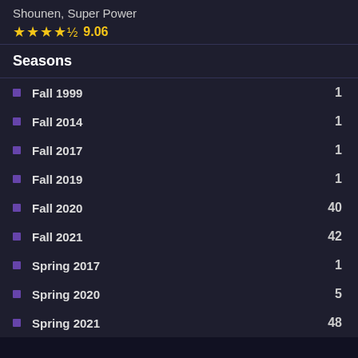Shounen, Super Power
★★★★½ 9.06
Seasons
Fall 1999   1
Fall 2014   1
Fall 2017   1
Fall 2019   1
Fall 2020   40
Fall 2021   42
Spring 2017   1
Spring 2020   5
Spring 2021   48
9ANIME watch free anime online